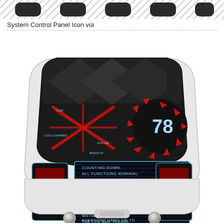[Figure (illustration): Row of dark rounded button/icon shapes at the top of the page on a hatched grey background]
System Control Panel Icon via
[Figure (illustration): A sci-fi system control panel device with a dark hexagonal/rounded trapezoidal top surface featuring a red X crosshair diagram, a circular gauge showing '78', blue line readouts, and a scrolling text display reading: COUNTING DOWN. ALL FUNCTIONS NOMINAL. ALL FUNCTIONS OPTIMAL. COUNTING DOWN. THE CENTER HOLDS. THE FALCON HEARS. THE FALCONER. INFRASTRUCTURE, CHECK. WETWARE, CHECK. EVERYONE HANG ON TO THE LIFE BAR, PLEASE. The device has a white outer casing with red decorative panels and silver knobs at the bottom.]